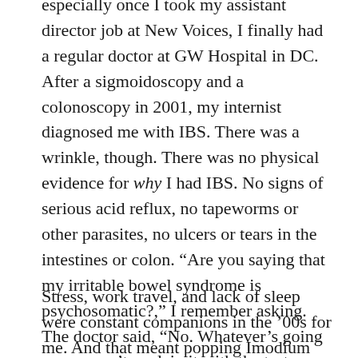especially once I took my assistant director job at New Voices, I finally had a regular doctor at GW Hospital in DC. After a sigmoidoscopy and a colonoscopy in 2001, my internist diagnosed me with IBS. There was a wrinkle, though. There was no physical evidence for why I had IBS. No signs of serious acid reflux, no tapeworms or other parasites, no ulcers or tears in the intestines or colon. “Are you saying that my irritable bowel syndrome is psychosomatic?,” I remember asking. The doctor said, “No. Whatever’s going on, we can’t explain it with the tests we have.”
Stress, work travel, and lack of sleep were constant companions in the ’00s for me. And that meant popping Imodium pills, the occasional acidophilus and other